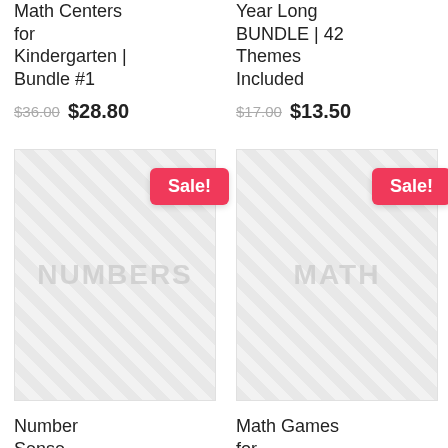Math Centers for Kindergarten | Bundle #1
$36.00 $28.80
Year Long BUNDLE | 42 Themes Included
$17.00 $13.50
[Figure (other): Product thumbnail image for Numbers math resource with Sale! badge]
[Figure (other): Product thumbnail image for Math resource with Sale! badge]
Number Sense
Math Games for Kindergarten |